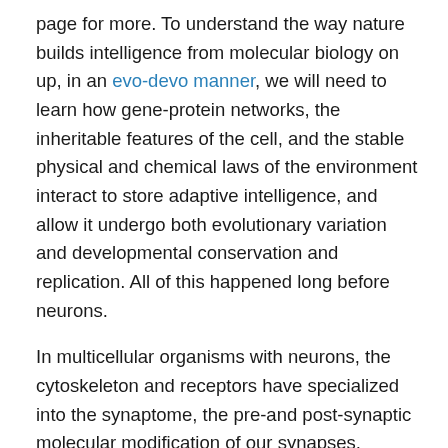page for more. To understand the way nature builds intelligence from molecular biology on up, in an evo-devo manner, we will need to learn how gene-protein networks, the inheritable features of the cell, and the stable physical and chemical laws of the environment interact to store adaptive intelligence, and allow it undergo both evolutionary variation and developmental conservation and replication. All of this happened long before neurons.
In multicellular organisms with neurons, the cytoskeleton and receptors have specialized into the synaptome, the pre-and post-synaptic molecular modification of our synapses, including phosphorylation of switching proteins like calmodulin kinase II. While there are over 50 known neuromodulators and 14 neurotransmitters in our brain, only six neurotransmitters have been implicated so far